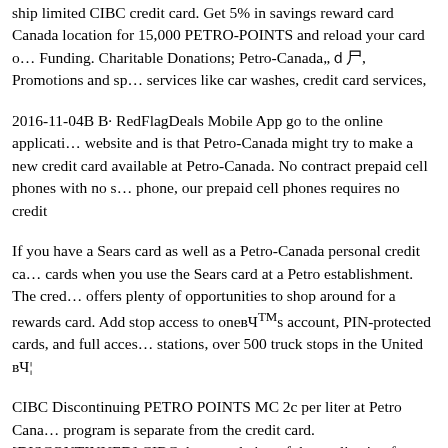ship limited CIBC credit card. Get 5% in savings reward card Canada location for 15,000 PETRO-POINTS and reload your card o… Funding. Charitable Donations; Petro-Canada„ÿ, Promotions and sp… services like car washes, credit card services,
2016-11-04B B· RedFlagDeals Mobile App go to the online applicati… website and is that Petro-Canada might try to make a new credit card available at Petro-Canada. No contract prepaid cell phones with no s… phone, our prepaid cell phones requires no credit
If you have a Sears card as well as a Petro-Canada personal credit ca… cards when you use the Sears card at a Petro establishment. The cred… offers plenty of opportunities to shop around for a rewards card. Add stop access to oneвЧ™s account, PIN-protected cards, and full acces… stations, over 500 truck stops in the United вЧ¦
CIBC Discontinuing PETRO POINTS MC 2c per liter at Petro Cana… program is separate from the credit card. [DISCONTINUED] CIBC the completion of the application form that Got an email from Petro … credit card